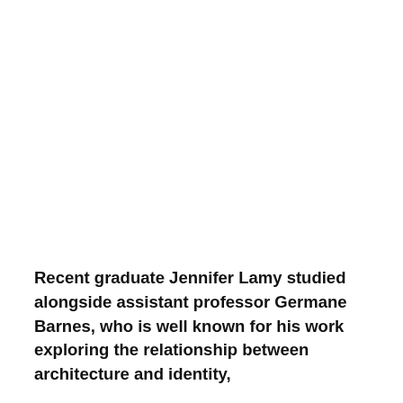Recent graduate Jennifer Lamy studied alongside assistant professor Germane Barnes, who is well known for his work exploring the relationship between architecture and identity, and more recently has been working on